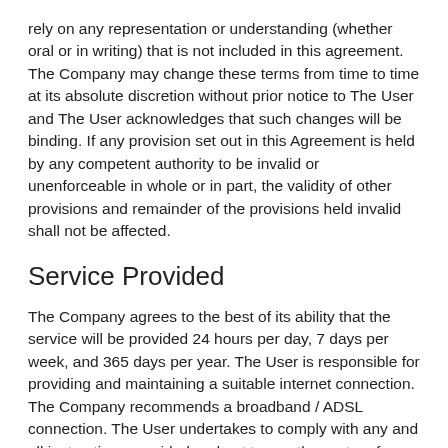rely on any representation or understanding (whether oral or in writing) that is not included in this agreement. The Company may change these terms from time to time at its absolute discretion without prior notice to The User and The User acknowledges that such changes will be binding. If any provision set out in this Agreement is held by any competent authority to be invalid or unenforceable in whole or in part, the validity of other provisions and remainder of the provisions held invalid shall not be affected.
Service Provided
The Company agrees to the best of its ability that the service will be provided 24 hours per day, 7 days per week, and 365 days per year. The User is responsible for providing and maintaining a suitable internet connection. The Company recommends a broadband / ADSL connection. The User undertakes to comply with any and all instructions provided and not to use the system for any immoral or illegal purpose.